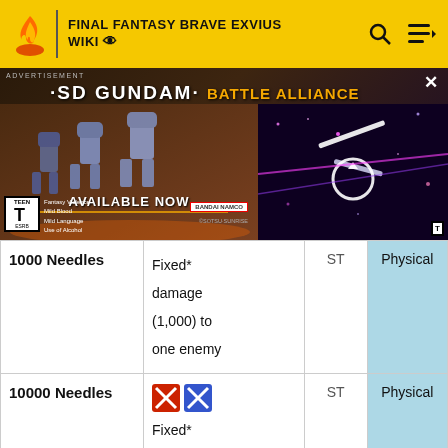FINAL FANTASY BRAVE EXVIUS WIKI
[Figure (photo): SD Gundam Battle Alliance advertisement banner showing game artwork and 'Available Now' text]
| Ability | Effect | Target | Type |
| --- | --- | --- | --- |
| 1000 Needles | Fixed* damage (1,000) to one enemy | ST | Physical |
| 10000 Needles | [icons] Fixed* damage (10,000) to... | ST | Physical |